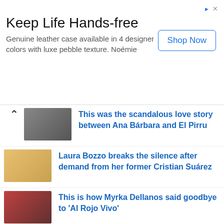[Figure (other): Advertisement banner: Keep Life Hands-free. Genuine leather case available in 4 designer colors with luxe pebble texture. Noémie. Shop Now button.]
This was the scandalous love story between Ana Bárbara and El Pirru
Laura Bozzo breaks the silence after demand from her former Cristian Suárez
This is how Myrka Dellanos said goodbye to 'Al Rojo Vivo'
Get to know the house of Carlota Vizmanos, the new sports face of Telemundo
This is the luxurious home of Tanya Charry, the Univision presenter who just got engaged
Did you know that Ferrari developed a three-cylinder, two-stroke engine?